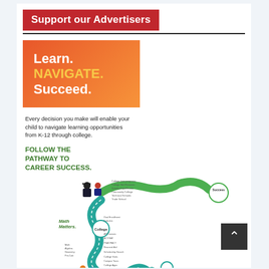Support our Advertisers
[Figure (infographic): Orange gradient banner with bold text: Learn. NAVIGATE. Succeed.]
Every decision you make will enable your child to navigate learning opportunities from K-12 through college.
FOLLOW THE PATHWAY TO CAREER SUCCESS.
[Figure (infographic): Math Matters pathway infographic showing a winding teal/green road from K-12 through College to Success, with figures of students and graduates, and annotated career milestones along the path.]